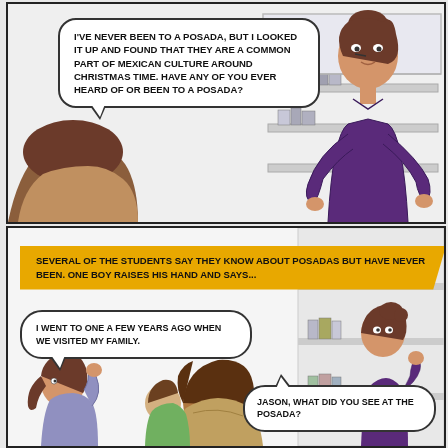[Figure (illustration): Comic panel 1: A teacher in a purple shirt speaking to students. Speech bubble reads: I'VE NEVER BEEN TO A POSADA, BUT I LOOKED IT UP AND FOUND THAT THEY ARE A COMMON PART OF MEXICAN CULTURE AROUND CHRISTMAS TIME. HAVE ANY OF YOU EVER HEARD OF OR BEEN TO A POSADA?]
I'VE NEVER BEEN TO A POSADA, BUT I LOOKED IT UP AND FOUND THAT THEY ARE A COMMON PART OF MEXICAN CULTURE AROUND CHRISTMAS TIME. HAVE ANY OF YOU EVER HEARD OF OR BEEN TO A POSADA?
[Figure (illustration): Comic panel 2: Classroom scene. Narrator box: SEVERAL OF THE STUDENTS SAY THEY KNOW ABOUT POSADAS BUT HAVE NEVER BEEN. ONE BOY RAISES HIS HAND AND SAYS... Student speech bubble: I WENT TO ONE A FEW YEARS AGO WHEN WE VISITED MY FAMILY. Teacher speech bubble: JASON, WHAT DID YOU SEE AT THE POSADA?]
SEVERAL OF THE STUDENTS SAY THEY KNOW ABOUT POSADAS BUT HAVE NEVER BEEN. ONE BOY RAISES HIS HAND AND SAYS...
I WENT TO ONE A FEW YEARS AGO WHEN WE VISITED MY FAMILY.
JASON, WHAT DID YOU SEE AT THE POSADA?